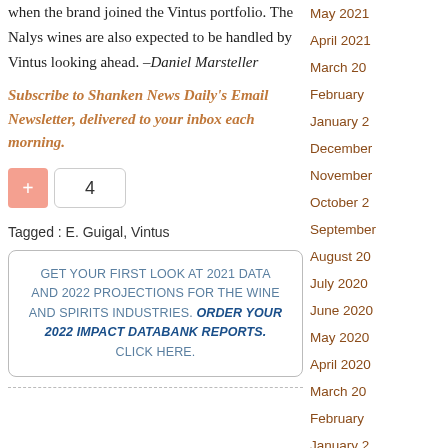when the brand joined the Vintus portfolio. The Nalys wines are also expected to be handled by Vintus looking ahead. –Daniel Marsteller
Subscribe to Shanken News Daily's Email Newsletter, delivered to your inbox each morning.
4
Tagged : E. Guigal, Vintus
GET YOUR FIRST LOOK AT 2021 DATA AND 2022 PROJECTIONS FOR THE WINE AND SPIRITS INDUSTRIES. ORDER YOUR 2022 IMPACT DATABANK REPORTS. CLICK HERE.
May 2021
April 2021
March 20
February
January 2
December
November
October 2
September
August 20
July 2020
June 2020
May 2020
April 2020
March 20
February
January 2
December
November
October 2
September
August 20